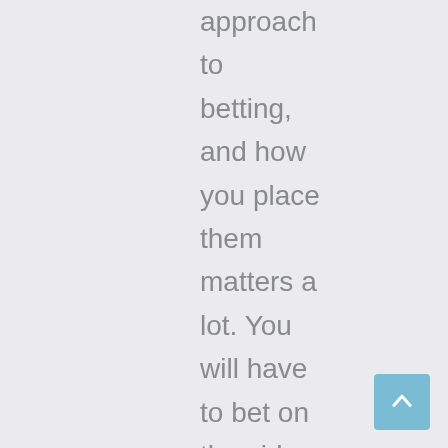approach to betting, and how you place them matters a lot. You will have to bet on the sides, or the numbers that you think that the ball will land on after the wheel